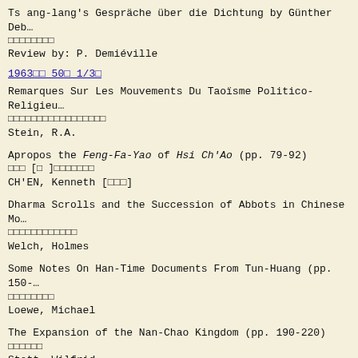Ts ang-lang's Gespräche über die Dichtung by Günther Deb…
□□□□□□□□
Review by: P. Demiéville
1963□□ 50□ 1/3□
Remarques Sur Les Mouvements Du Taoïsme Politico-Religie…
□□□□□□□□□□□□□□□□□
Stein, R.A.
Apropos the Feng-Fa-Yao of Hsi Ch'Ao (pp. 79-92)
□□□ [□ ]□□□□□□□
CH'EN, Kenneth [□□□]
Dharma Scrolls and the Succession of Abbots in Chinese Mo…
□□□□□□□□□□□□
Welch, Holmes
Some Notes On Han-Time Documents From Tun-Huang (pp. 150-…)
□□□□□□□□
Loewe, Michael
The Expansion of the Nan-Chao Kingdom (pp. 190-220)
□□□□□□
Stott, Wilfrid
Studies in Middle Archaic Chinese: The Spring and Autumn…
□□□□□□□□□□□□□
Dobson, W.A.C.H. [□□□]
Remarques Sur Un Nouveau Recueil De Documents Phonologiqu…